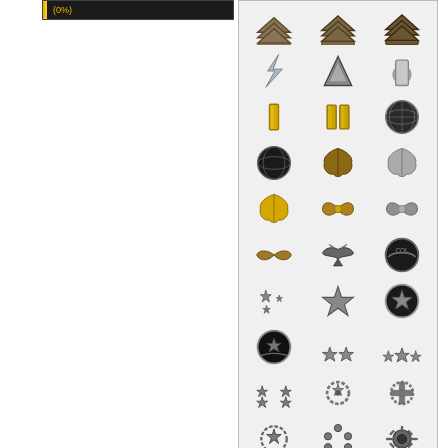[Figure (infographic): Progress bar showing 0% completion with yellow border and label (0%)]
[Figure (infographic): Grid of military rank insignia badges including sergeant chevrons, warrant officer bars, lieutenant bars, captain bars, major oak leaves, lieutenant colonel oak leaves, colonel eagles, general stars arranged in rows of 3 columns]